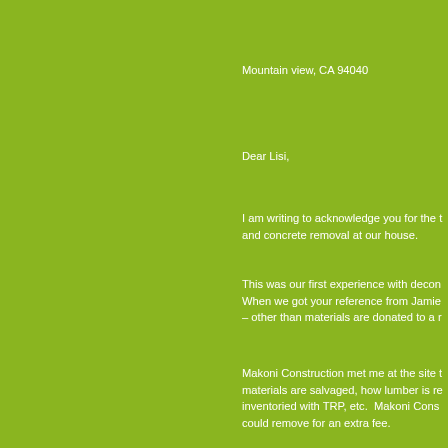Mountain view, CA 94040
Dear Lisi,
I am writing to acknowledge you for the t and concrete removal at our house.
This was our first experience with decon When we got your reference from Jamie – other than materials are donated to a r
Makoni Construction met me at the site t materials are salvaged, how lumber is re inventoried with TRP, etc.  Makoni Cons could remove for an extra fee.
Lisi was thorough in giving us a detailed was patient as we made changes (the g for staging during construction).  You ha do anything other than sign the docume